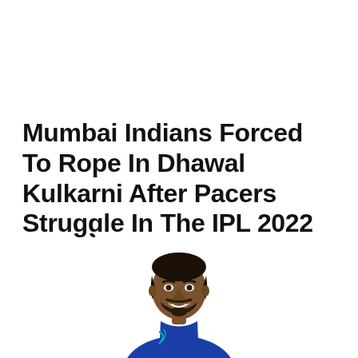Mumbai Indians Forced To Rope In Dhawal Kulkarni After Pacers Struggle In The IPL 2022
[Figure (photo): Portrait photo of Dhawal Kulkarni, a cricketer, smiling, wearing a blue Mumbai Indians jersey, shown from chest up against a white background.]